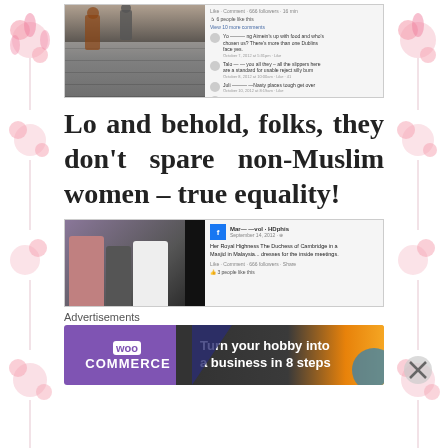[Figure (screenshot): Facebook post screenshot showing a mall/shopping area photo with user comments below it]
Lo and behold, folks, they don't spare non-Muslim women – true equality!
[Figure (screenshot): Facebook post screenshot showing a group photo with people in traditional/formal dress, with post text about Her Royal Highness The Duchess of Cambridge in a Masjid in Malaysia]
Advertisements
[Figure (infographic): WooCommerce advertisement banner: Turn your hobby into a business in 8 steps]